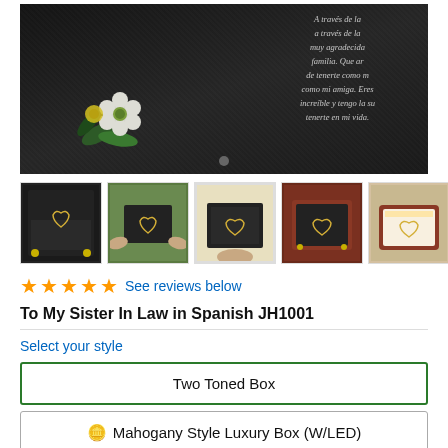[Figure (photo): A dark jewelry gift box open, showing a card with Spanish text and a floral decoration, photographed from above on a dark background.]
[Figure (photo): Thumbnail gallery of 5 product images showing a necklace in various gift box styles including two-toned box, being held, open box, mahogany box, and luxury LED box.]
★★★★★ See reviews below
To My Sister In Law in Spanish JH1001
Select your style
Two Toned Box
🪙 Mahogany Style Luxury Box (W/LED)